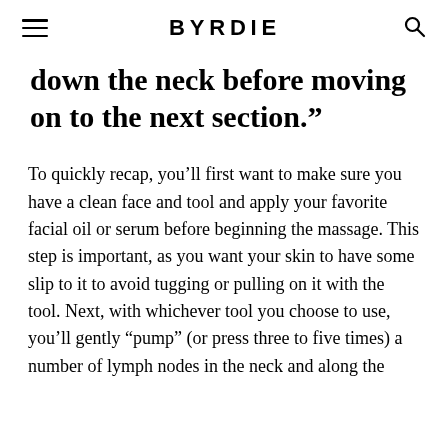BYRDIE
down the neck before moving on to the next section.”
To quickly recap, you’ll first want to make sure you have a clean face and tool and apply your favorite facial oil or serum before beginning the massage. This step is important, as you want your skin to have some slip to it to avoid tugging or pulling on it with the tool. Next, with whichever tool you choose to use, you’ll gently “pump” (or press three to five times) a number of lymph nodes in the neck and along the